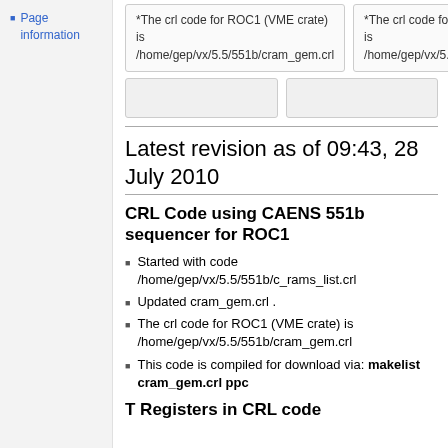Page information
*The crl code for ROC1 (VME crate) is /home/gep/vx/5.5/551b/cram_gem.crl
*The crl code for ROC1 (VME crate) is /home/gep/vx/5.5/551b/cram_gem.crl
Latest revision as of 09:43, 28 July 2010
CRL Code using CAENS 551b sequencer for ROC1
Started with code /home/gep/vx/5.5/551b/c_rams_list.crl
Updated cram_gem.crl .
The crl code for ROC1 (VME crate) is /home/gep/vx/5.5/551b/cram_gem.crl
This code is compiled for download via: makelist cram_gem.crl ppc
T Registers in CRL code